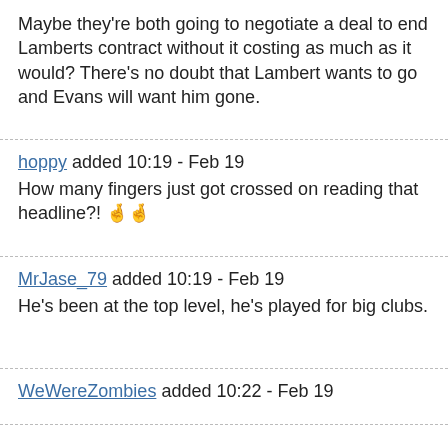Maybe they're both going to negotiate a deal to end Lamberts contract without it costing as much as it would? There's no doubt that Lambert wants to go and Evans will want him gone.
hoppy added 10:19 - Feb 19
How many fingers just got crossed on reading that headline?! 🤞🤞
MrJase_79 added 10:19 - Feb 19
He's been at the top level, he's played for big clubs.
WeWereZombies added 10:22 - Feb 19